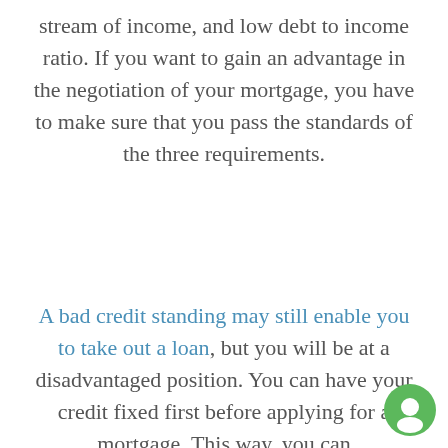stream of income, and low debt to income ratio. If you want to gain an advantage in the negotiation of your mortgage, you have to make sure that you pass the standards of the three requirements.
A bad credit standing may still enable you to take out a loan, but you will be at a disadvantaged position. You can have your credit fixed first before applying for a mortgage. This way, you can